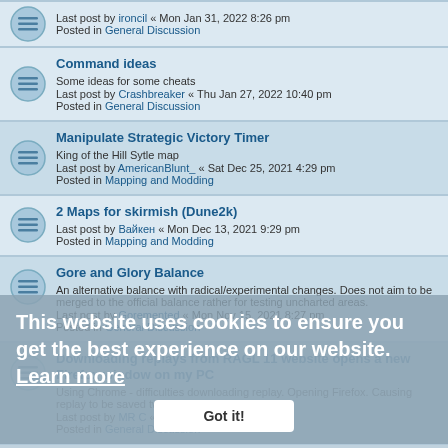Last post by ironcil « Mon Jan 31, 2022 8:26 pm
Posted in General Discussion
Command ideas
Some ideas for some cheats
Last post by Crashbreaker « Thu Jan 27, 2022 10:40 pm
Posted in General Discussion
Manipulate Strategic Victory Timer
King of the Hill Sytle map
Last post by AmericanBlunt_ « Sat Dec 25, 2021 4:29 pm
Posted in Mapping and Modding
2 Maps for skirmish (Dune2k)
Last post by Вайкен « Mon Dec 13, 2021 9:29 pm
Posted in Mapping and Modding
Gore and Glory Balance
An alternative balance with radical/experimental changes. Does not aim to be merged to the official balance rather for testing uncharted areas.
Last post by Goremented « Mon Nov 15, 2021 8:27 pm
Posted in General Discussion
Downloading replays from RAGL 11 website opens a new Firefox window on my PC
Using Chrome - difficulties downloading replay. Opening Firefox. Causing replay to be saved twice.
Last post by MR C « Tue Nov 02, 2021 9:40 pm
Posted in General Discussion
- Kautious Kup 4- RAGL through the Seasons
Last post by Kaution « Mon Sep 20, 2021 1:40 pm
Posted in Competitions and Events
Having so much fun
This website uses cookies to ensure you get the best experience on our website. Learn more